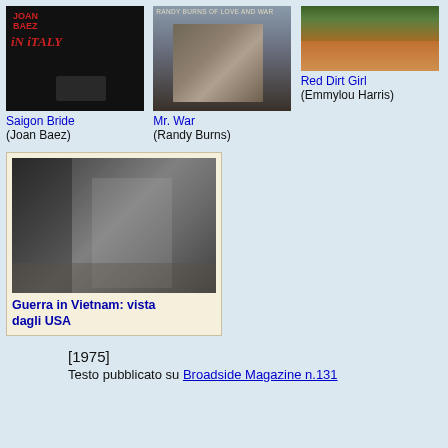[Figure (photo): Album cover for Saigon Bride by Joan Baez - dark background with red text 'JOAN BAEZ IN ITALY']
Saigon Bride
(Joan Baez)
[Figure (photo): Album cover for Mr. War by Randy Burns - close-up portrait of young man]
Mr. War
(Randy Burns)
[Figure (photo): Red Dirt Girl album cover by Emmylou Harris - red dirt road through forest]
Red Dirt Girl
(Emmylou Harris)
[Figure (photo): Black and white photo of Vietnam War execution scene - Guerra in Vietnam: vista dagli USA]
Guerra in Vietnam: vista dagli USA
[1975]
Testo pubblicato su Broadside Magazine n.131